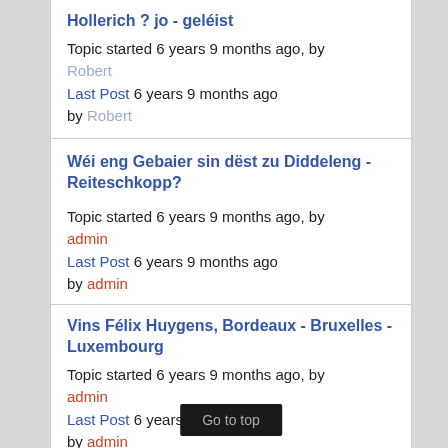Hollerich ? jo - geléist
Topic started 6 years 9 months ago, by Robert
Last Post 6 years 9 months ago
by Robert
Wéi eng Gebaier sin dëst zu Diddeleng - Reiteschkopp?
Topic started 6 years 9 months ago, by admin
Last Post 6 years 9 months ago
by admin
Vins Félix Huygens, Bordeaux - Bruxelles - Luxembourg
Topic started 6 years 9 months ago, by admin
Last Post 6 years 9 months ago
by admin
Schampesfabrik z... 1896